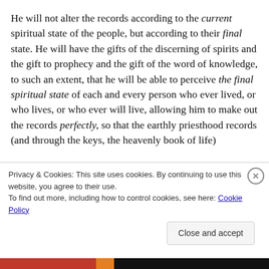He will not alter the records according to the current spiritual state of the people, but according to their final state. He will have the gifts of the discerning of spirits and the gift to prophecy and the gift of the word of knowledge, to such an extent, that he will be able to perceive the final spiritual state of each and every person who ever lived, or who lives, or who ever will live, allowing him to make out the records perfectly, so that the earthly priesthood records (and through the keys, the heavenly book of life)
Privacy & Cookies: This site uses cookies. By continuing to use this website, you agree to their use.
To find out more, including how to control cookies, see here: Cookie Policy